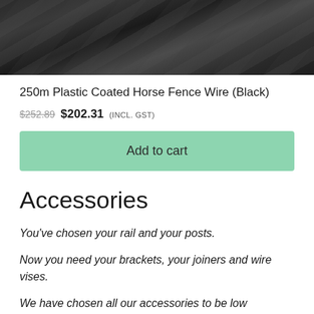[Figure (photo): Close-up photo of black plastic coated wire/cable rolls with curved surfaces]
250m Plastic Coated Horse Fence Wire (Black)
$252.89 $202.31 (INCL. GST)
Add to cart
Accessories
You've chosen your rail and your posts.
Now you need your brackets, your joiners and wire vises.
We have chosen all our accessories to be low